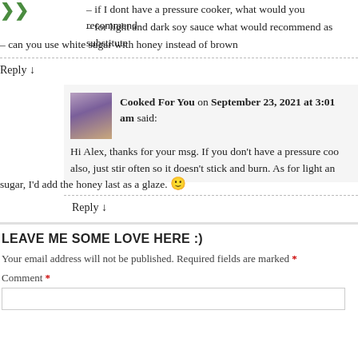– if I dont have a pressure cooker, what would you recommend
– for light and dark soy sauce what would recommend as substitute
– can you use white sugar with honey instead of brown
Reply ↓
Cooked For You on September 23, 2021 at 3:01 am said:
Hi Alex, thanks for your msg. If you don't have a pressure cooker also, just stir often so it doesn't stick and burn. As for light and sugar, I'd add the honey last as a glaze. 🙂
Reply ↓
LEAVE ME SOME LOVE HERE :)
Your email address will not be published. Required fields are marked *
Comment *